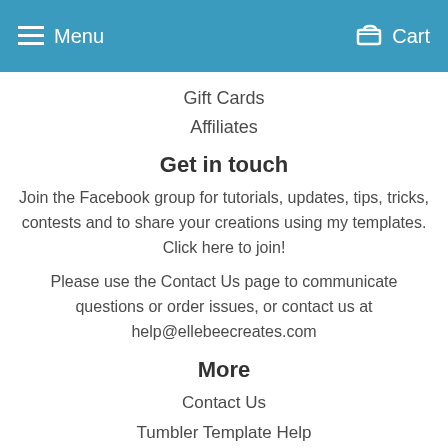Menu   Cart
Gift Cards
Affiliates
Get in touch
Join the Facebook group for tutorials, updates, tips, tricks, contests and to share your creations using my templates. Click here to join!
Please use the Contact Us page to communicate questions or order issues, or contact us at help@ellebeecreates.com
More
Contact Us
Tumbler Template Help
I don't see my brand & other Frequently Asked Questions
Tumbler Brand Database
Edit Customer Account